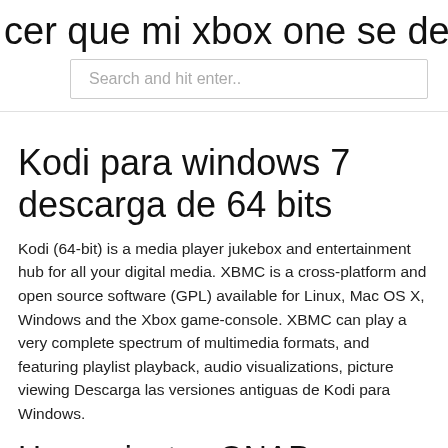cer que mi xbox one se descargue m
Search and hit enter..
Kodi para windows 7 descarga de 64 bits
Kodi (64-bit) is a media player jukebox and entertainment hub for all your digital media. XBMC is a cross-platform and open source software (GPL) available for Linux, Mac OS X, Windows and the Xbox game-console. XBMC can play a very complete spectrum of multimedia formats, and featuring playlist playback, audio visualizations, picture viewing Descarga las versiones antiguas de Kodi para Windows.
Herramientas QNAP